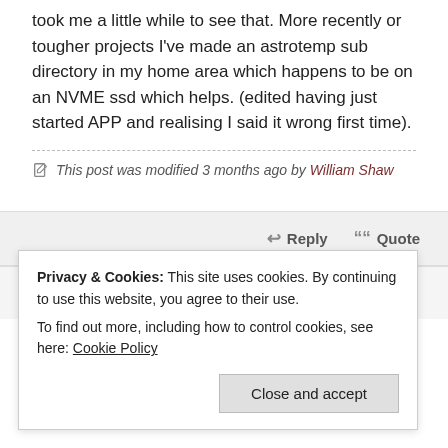took me a little while to see that. More recently or tougher projects I've made an astrotemp sub directory in my home area which happens to be on an NVME ssd which helps. (edited having just started APP and realising I said it wrong first time).
This post was modified 3 months ago by William Shaw
Reply  Quote
William Shaw
Privacy & Cookies: This site uses cookies. By continuing to use this website, you agree to their use.
To find out more, including how to control cookies, see here: Cookie Policy
Close and accept